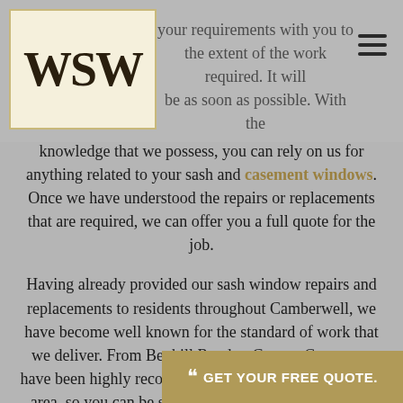WSW
knowledge that we possess, you can rely on us for anything related to your sash and casement windows. Once we have understood the repairs or replacements that are required, we can offer you a full quote for the job.
Having already provided our sash window repairs and replacements to residents throughout Camberwell, we have become well known for the standard of work that we deliver. From Benhill Road to County Grove, we have been highly recommended by our customers in the area, so you can be sure we are the right team for the job. To find out more about today on 020 3993
GET YOUR FREE QUOTE.